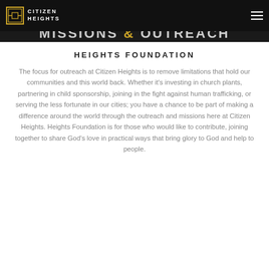CITIZEN HEIGHTS
MISSIONS & OUTREACH
HEIGHTS FOUNDATION
The focus for outreach at Citizen Heights is to remove limitations that hold our communities and this world back. Whether it's investing in church plants, partnering in child sponsorship, joining in the fight against human trafficking, or serving the less fortunate in our cities; you have a chance to be part of making a difference around the world through the outreach and missions here at Citizen Heights. Heights Foundation is for those who would like to contribute, joining together to share God's love in practical ways that bring glory to God and help to people.